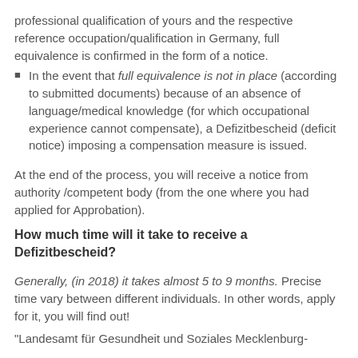professional qualification of yours and the respective reference occupation/qualification in Germany, full equivalence is confirmed in the form of a notice.
In the event that full equivalence is not in place (according to submitted documents) because of an absence of language/medical knowledge (for which occupational experience cannot compensate), a Defizitbescheid (deficit notice) imposing a compensation measure is issued.
At the end of the process, you will receive a notice from authority /competent body (from the one where you had applied for Approbation).
How much time will it take to receive a Defizitbescheid?
Generally, (in 2018) it takes almost 5 to 9 months. Precise time vary between different individuals. In other words, apply for it, you will find out!
"Landesamt für Gesundheit und Soziales Mecklenburg-